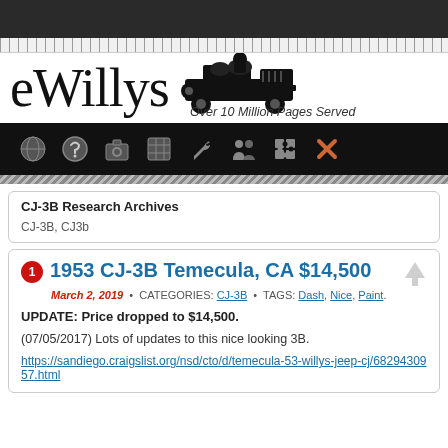[Figure (logo): eWillys logo with cursive text and vintage jeep illustration, tagline 'Over 10 Million Pages Served']
[Figure (screenshot): Navigation icon bar with globe, help, camera, grid, wrench, people, puzzle, and X icons on black background]
CJ-3B Research Archives
CJ-3B, CJ3b
1953 CJ-3B Temecula, CA $14,500
March 2, 2019 • CATEGORIES: CJ-3B • TAGS: Dash, Nice, Paint.
UPDATE: Price dropped to $14,500.
(07/05/2017) Lots of updates to this nice looking 3B.
https://sandiego.craigslist.org/nsd/cto/d/temecula-53-willys-jeep-cj/6829430957.html